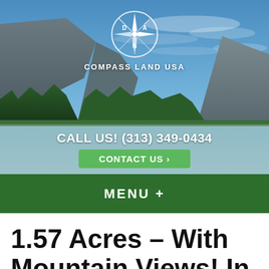[Figure (photo): Hero banner with mountain landscape, blue sky, pine trees and rocky cliffs. Contains compass logo for 'Compass Land USA', a phone number bar and Contact Us button.]
CALL US! (313) 349-0434
CONTACT US ›
MENU  +
1.57 Acres – With Mountain Views! In Forbes Park, Costilla County, CO SOLD